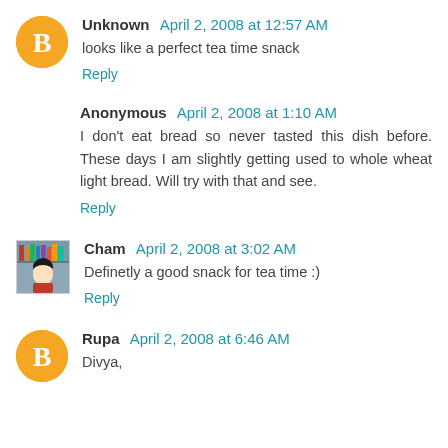Unknown  April 2, 2008 at 12:57 AM
looks like a perfect tea time snack
Reply
Anonymous  April 2, 2008 at 1:10 AM
I don't eat bread so never tasted this dish before. These days I am slightly getting used to whole wheat light bread. Will try with that and see.
Reply
Cham  April 2, 2008 at 3:02 AM
Definetly a good snack for tea time :)
Reply
Rupa  April 2, 2008 at 6:46 AM
Divya,